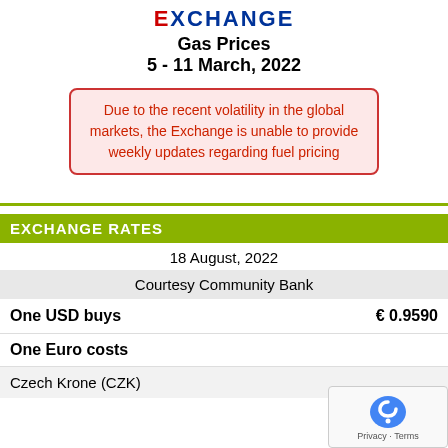EXCHANGE
Gas Prices
5 - 11 March, 2022
Due to the recent volatility in the global markets, the Exchange is unable to provide weekly updates regarding fuel pricing
EXCHANGE RATES
18 August, 2022
Courtesy Community Bank
|  |  |
| --- | --- |
| One USD buys | € 0.9590 |
| One Euro costs |  |
| Czech Krone (CZK) |  |